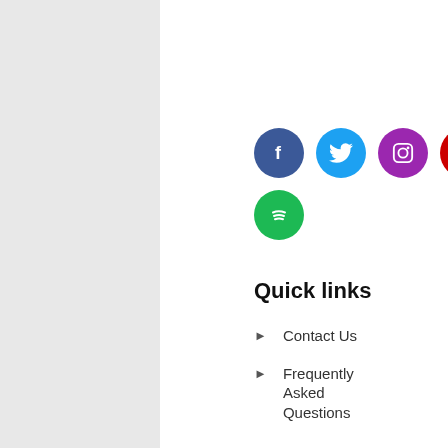[Figure (infographic): Social media icons: Facebook (dark blue), Twitter (light blue), Instagram (purple), YouTube (red), Spotify (green)]
Quick links
Contact Us
Frequently Asked Questions